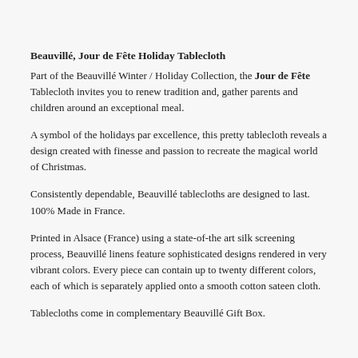Beauvillé, Jour de Fête Holiday Tablecloth
Part of the Beauvillé Winter / Holiday Collection, the Jour de Fête Tablecloth invites you to renew tradition and, gather parents and children around an exceptional meal.
A symbol of the holidays par excellence, this pretty tablecloth reveals a design created with finesse and passion to recreate the magical world of Christmas.
Consistently dependable, Beauvillé tablecloths are designed to last. 100% Made in France.
Printed in Alsace (France) using a state-of-the art silk screening process, Beauvillé linens feature sophisticated designs rendered in very vibrant colors. Every piece can contain up to twenty different colors, each of which is separately applied onto a smooth cotton sateen cloth.
Tablecloths come in complementary Beauvillé Gift Box.